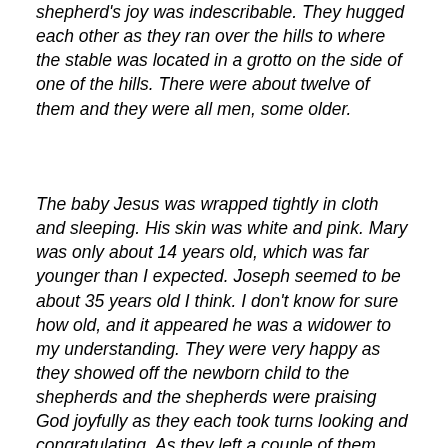shepherd's joy was indescribable. They hugged each other as they ran over the hills to where the stable was located in a grotto on the side of one of the hills. There were about twelve of them and they were all men, some older.
The baby Jesus was wrapped tightly in cloth and sleeping. His skin was white and pink. Mary was only about 14 years old, which was far younger than I expected. Joseph seemed to be about 35 years old I think. I don't know for sure how old, and it appeared he was a widower to my understanding. They were very happy as they showed off the newborn child to the shepherds and the shepherds were praising God joyfully as they each took turns looking and congratulating. As they left a couple of them stopped to tell Mary and Joseph how they came to know about the Christ child. These shepherds never forgot